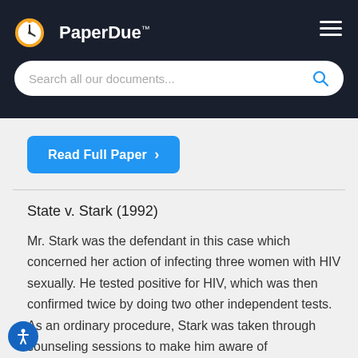PaperDue™
Search all our documents...
Read Full Paper ›
State v. Stark (1992)
Mr. Stark was the defendant in this case which concerned her action of infecting three women with HIV sexually. He tested positive for HIV, which was then confirmed twice by doing two other independent tests. As an ordinary procedure, Stark was taken through counseling sessions to make him aware of